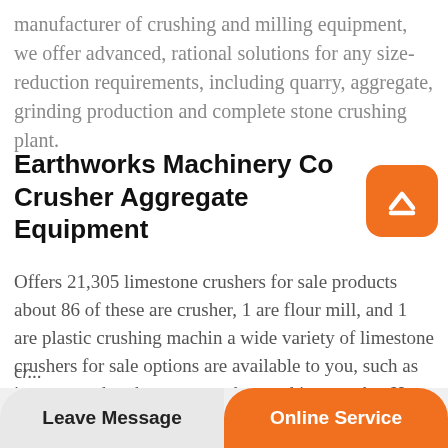manufacturer of crushing and milling equipment, we offer advanced, rational solutions for any size-reduction requirements, including quarry, aggregate, grinding production and complete stone crushing plant.
Earthworks Machinery Co Crusher Aggregate Equipment
Offers 21,305 limestone crushers for sale products about 86 of these are crusher, 1 are flour mill, and 1 are plastic crushing machin a wide variety of limestone crushers for sale options are available to you, such as impact crusher, hammer crusher, and jaw crusher.Hot selling high quality hammer crusher design.Hot
Leave Message | Online Service